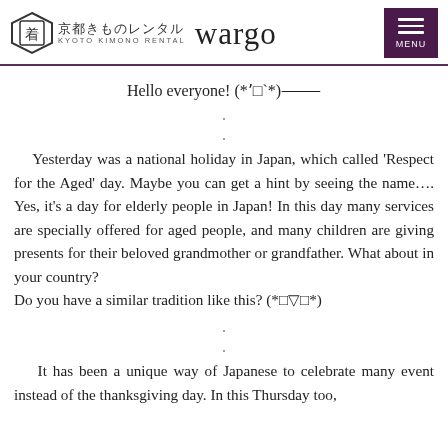京都きものレンタル wargo KYOTO KIMONO RENTAL
Hello everyone! (*´□`*)↵
Yesterday was a national holiday in Japan, which called 'Respect for the Aged' day. Maybe you can get a hint by seeing the name…. Yes, it's a day for elderly people in Japan! In this day many services are specially offered for aged people, and many children are giving presents for their beloved grandmother or grandfather. What about in your country?
Do you have a similar tradition like this? (*□▽□*)
It has been a unique way of Japanese to celebrate many event instead of the thanksgiving day. In this Thursday too,